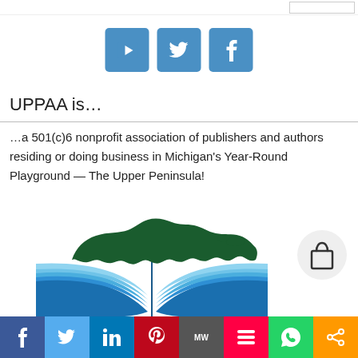[Figure (logo): Three social media icon buttons: YouTube (play icon), Twitter (bird icon), Facebook (f icon) — blue squares with white icons]
UPPAA is…
…a 501(c)6 nonprofit association of publishers and authors residing or doing business in Michigan's Year-Round Playground — The Upper Peninsula!
[Figure (logo): UPPAA logo: dark green silhouette of the Upper Peninsula of Michigan above an open book with blue curved lines (pages), forming the organization logo]
[Figure (other): Shopping bag icon in a circular grey button]
f  Twitter  in  P  MW  m  WhatsApp  share — social sharing bottom bar